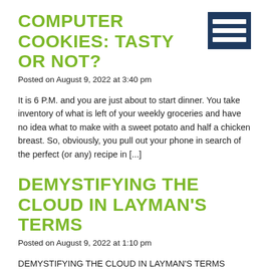COMPUTER COOKIES: TASTY OR NOT?
Posted on August 9, 2022 at 3:40 pm
It is 6 P.M. and you are just about to start dinner. You take inventory of what is left of your weekly groceries and have no idea what to make with a sweet potato and half a chicken breast. So, obviously, you pull out your phone in search of the perfect (or any) recipe in [...]
DEMYSTIFYING THE CLOUD IN LAYMAN'S TERMS
Posted on August 9, 2022 at 1:10 pm
DEMYSTIFYING THE CLOUD IN LAYMAN'S TERMS INTRODUCTION For several years, cloud technology has been one of the most talked about subjects in business